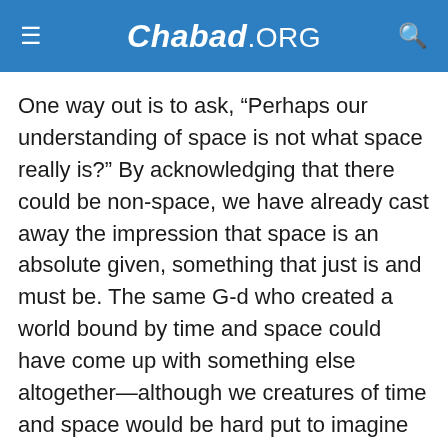Chabad.ORG
One way out is to ask, “Perhaps our understanding of space is not what space really is?” By acknowledging that there could be non-space, we have already cast away the impression that space is an absolute given, something that just is and must be. The same G-d who created a world bound by time and space could have come up with something else altogether—although we creatures of time and space would be hard put to imagine such a thing.
But we could go even further: Is space a static thing? Or is it an event which is continually being renewed out of the void?